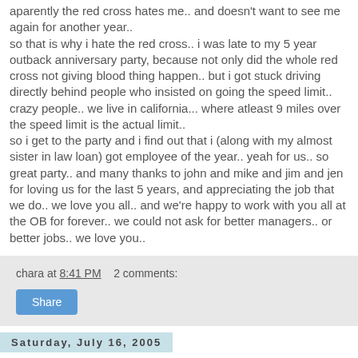aparently the red cross hates me.. and doesn't want to see me again for another year.. so that is why i hate the red cross.. i was late to my 5 year outback anniversary party, because not only did the whole red cross not giving blood thing happen.. but i got stuck driving directly behind people who insisted on going the speed limit.. crazy people.. we live in california... where atleast 9 miles over the speed limit is the actual limit.. so i get to the party and i find out that i (along with my almost sister in law loan) got employee of the year.. yeah for us.. so great party.. and many thanks to john and mike and jim and jen for loving us for the last 5 years, and appreciating the job that we do.. we love you all.. and we're happy to work with you all at the OB for forever.. we could not ask for better managers.. or better jobs.. we love you..
chara at 8:41 PM   2 comments:
Share
Saturday, July 16, 2005